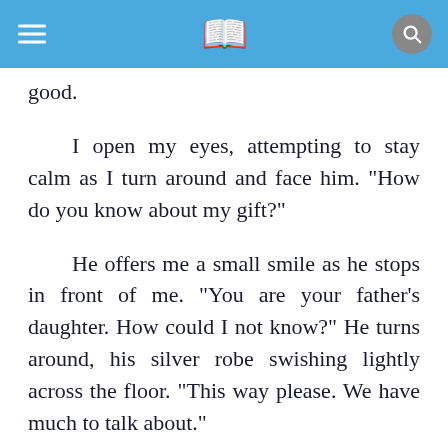[App navigation bar with hamburger menu, book icon, and search button]
good.
I open my eyes, attempting to stay calm as I turn around and face him. "How do you know about my gift?"
He offers me a small smile as he stops in front of me. "You are your father's daughter. How could I not know?" He turns around, his silver robe swishing lightly across the floor. "This way please. We have much to talk about."
Having no choice but to follow, I trudge after him, and her head against the door, and...